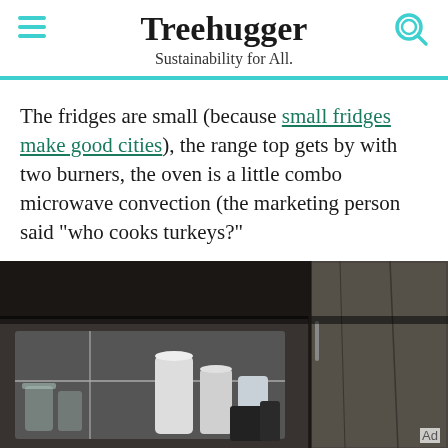Treehugger — Sustainability for All.
The fridges are small (because small fridges make good cities), the range top gets by with two burners, the oven is a little combo microwave convection (the marketing person said "who cooks turkeys?"
[Figure (photo): Kitchen drawer pulled open showing dishware, glasses, and utensils organized inside a modern kitchen cabinet with wood-finish panels]
Ad